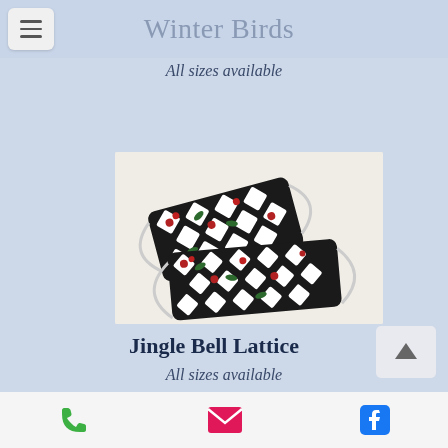Winter Birds
All sizes available
[Figure (photo): Two face masks with a black and white checkered lattice pattern with red and green floral/berry motifs, displayed on a light background]
Jingle Bell Lattice
All sizes available
Phone, Email, Facebook icons